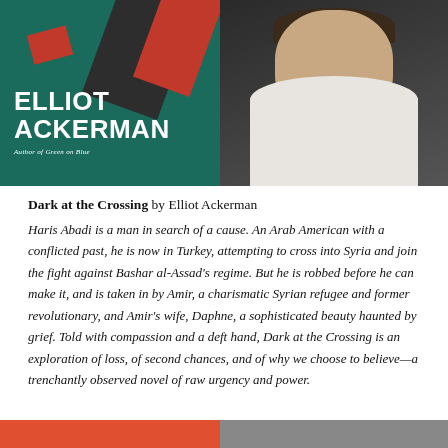[Figure (photo): Book cover for 'Dark at the Crossing' by Elliot Ackerman — teal/green background with geometric black and red diagonal shapes, white text reading ELLIOT ACKERMAN, Author of Green on Blue]
[Figure (photo): Author photo of Elliot Ackerman, a man in a white shirt photographed against a dark background]
Dark at the Crossing by Elliot Ackerman
Haris Abadi is a man in search of a cause. An Arab American with a conflicted past, he is now in Turkey, attempting to cross into Syria and join the fight against Bashar al-Assad's regime. But he is robbed before he can make it, and is taken in by Amir, a charismatic Syrian refugee and former revolutionary, and Amir's wife, Daphne, a sophisticated beauty haunted by grief. Told with compassion and a deft hand, Dark at the Crossing is an exploration of loss, of second chances, and of why we choose to believe—a trenchantly observed novel of raw urgency and power.
[Figure (photo): Partial image at bottom left — appears orange/red colored]
[Figure (photo): Partial image at bottom right — appears grey colored]